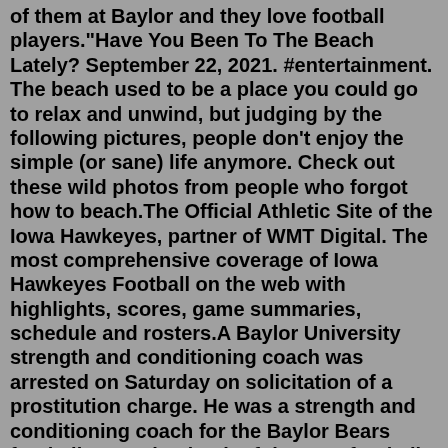of them at Baylor and they love football players."Have You Been To The Beach Lately? September 22, 2021. #entertainment. The beach used to be a place you could go to relax and unwind, but judging by the following pictures, people don't enjoy the simple (or sane) life anymore. Check out these wild photos from people who forgot how to beach.The Official Athletic Site of the Iowa Hawkeyes, partner of WMT Digital. The most comprehensive coverage of Iowa Hawkeyes Football on the web with highlights, scores, game summaries, schedule and rosters.A Baylor University strength and conditioning coach was arrested on Saturday on solicitation of a prostitution charge. He was a strength and conditioning coach for the Baylor Bears football team.The depth of the BYU football team has been tested during the 2021 season due to injuries. Injured BYU Football Players Start Returning To Practice For Baylor Week.Baylor Football - Rise Up. Created by Ben Huelsing Plus 9 years ago. In support of